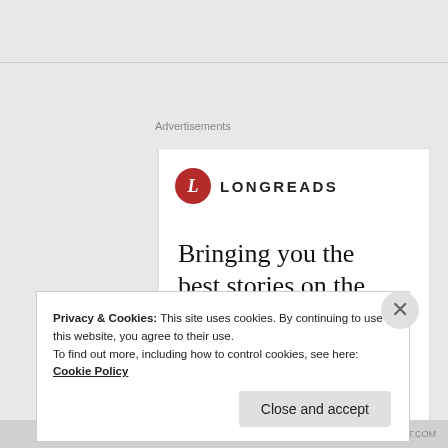Advertisements
[Figure (logo): Longreads logo: red circle with white italic L, followed by LONGREADS in spaced caps]
Bringing you the best stories on the web since 2009.
Start reading
Privacy & Cookies: This site uses cookies. By continuing to use this website, you agree to their use.
To find out more, including how to control cookies, see here: Cookie Policy
Close and accept